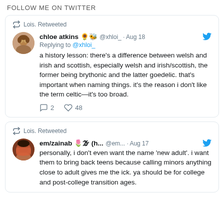FOLLOW ME ON TWITTER
Lois. Retweeted
chloe atkins 🌻🐝 @xhloi_ · Aug 18
Replying to @xhloi_
a history lesson: there's a difference between welsh and irish and scottish, especially welsh and irish/scottish, the former being brythonic and the latter goedelic. that's important when naming things. it's the reason i don't like the term celtic—it's too broad.
💬 2  ♡ 48
Lois. Retweeted
em/zainab 🌷🌫 (h... @em... · Aug 17
personally, i don't even want the name 'new adult'. i want them to bring back teens because calling minors anything close to adult gives me the ick. ya should be for college and post-college transition ages.